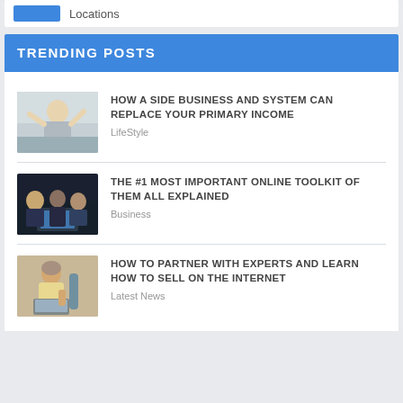Locations
TRENDING POSTS
[Figure (photo): Man gesturing with hands, appearing frustrated or surprised, outdoors]
HOW A SIDE BUSINESS AND SYSTEM CAN REPLACE YOUR PRIMARY INCOME
LifeStyle
[Figure (photo): Group of people looking at laptop screen in dark setting]
THE #1 MOST IMPORTANT ONLINE TOOLKIT OF THEM ALL EXPLAINED
Business
[Figure (photo): Elderly man using laptop computer, seated]
HOW TO PARTNER WITH EXPERTS AND LEARN HOW TO SELL ON THE INTERNET
Latest News